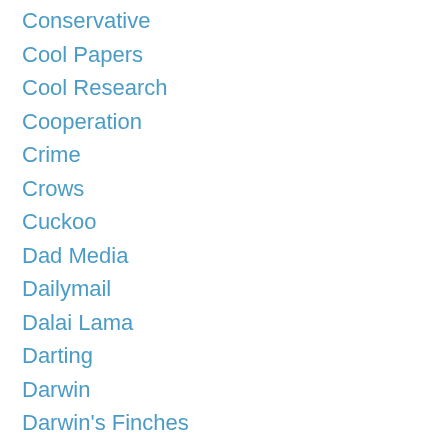Conservative
Cool Papers
Cool Research
Cooperation
Crime
Crows
Cuckoo
Dad Media
Dailymail
Dalai Lama
Darting
Darwin
Darwin's Finches
Deception
Deception Africa
Decision Making
Deer
DES
Dieter Lukas
Disney
Distr...